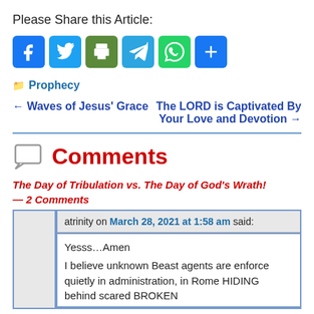Please Share this Article:
[Figure (other): Social sharing icons: Facebook, Twitter, Print, Telegram, WhatsApp, Share]
Prophecy
← Waves of Jesus' Grace
The LORD is Captivated By Your Love and Devotion →
Comments
The Day of Tribulation vs. The Day of God's Wrath! — 2 Comments
atrinity on March 28, 2021 at 1:58 am said:
Yesss…Amen
I believe unknown Beast agents are enforce quietly in administration, in Rome HIDING behind scared BROKEN